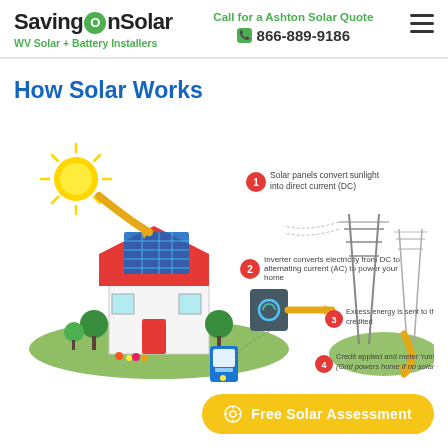SavingOnSolar — WV Solar + Battery Installers | Call for a Ashton Solar Quote 866-889-9186
How Solar Works
[Figure (infographic): How Solar Works infographic showing 4 steps: 1) Solar panels convert sunlight into direct current (DC) — illustrated with a house with solar panels and a sun. 2) Inverter converts electricity from DC to alternating current (AC) to power your home. 3) Excess energy is sent to the grid and credited. 4) Credit applied and meter 'runs backwards.' (Grid powers home if no solar power is generated.) — illustrated with power transmission towers, arrows showing energy flow, and a smart meter.]
Free Solar Assessment